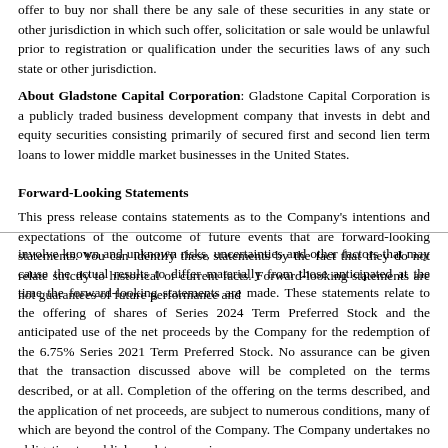offer to buy nor shall there be any sale of these securities in any state or other jurisdiction in which such offer, solicitation or sale would be unlawful prior to registration or qualification under the securities laws of any such state or other jurisdiction.
About Gladstone Capital Corporation: Gladstone Capital Corporation is a publicly traded business development company that invests in debt and equity securities consisting primarily of secured first and second lien term loans to lower middle market businesses in the United States.
Forward-Looking Statements
This press release contains statements as to the Company's intentions and expectations of the outcome of future events that are forward-looking statements. You can identify these statements by the fact that they do not relate strictly to historical or current facts. Forward-looking statements are not guarantees of future performance and
involve known and unknown risks, uncertainties and other factors that may cause the actual results to differ materially from those anticipated at the time the forward-looking statements are made. These statements relate to the offering of shares of Series 2024 Term Preferred Stock and the anticipated use of the net proceeds by the Company for the redemption of the 6.75% Series 2021 Term Preferred Stock. No assurance can be given that the transaction discussed above will be completed on the terms described, or at all. Completion of the offering on the terms described, and the application of net proceeds, are subject to numerous conditions, many of which are beyond the control of the Company. The Company undertakes no obligation to publicly update or revise any